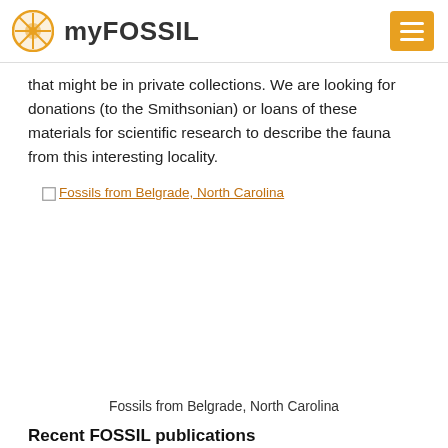myFOSSIL
that might be in private collections. We are looking for donations (to the Smithsonian) or loans of these materials for scientific research to describe the fauna from this interesting locality.
[Figure (other): Broken image link labeled 'Fossils from Belgrade, North Carolina']
Fossils from Belgrade, North Carolina
Recent FOSSIL publications